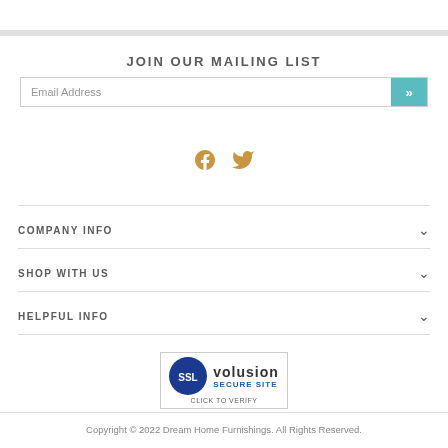JOIN OUR MAILING LIST
Email Address
[Figure (illustration): Facebook and Twitter social media icons in gold/amber color]
COMPANY INFO
SHOP WITH US
HELPFUL INFO
[Figure (logo): SSL Volusion Secure Site badge with blue circle SSL logo and click to verify text]
Copyright © 2022 Dream Home Furnishings. All Rights Reserved.